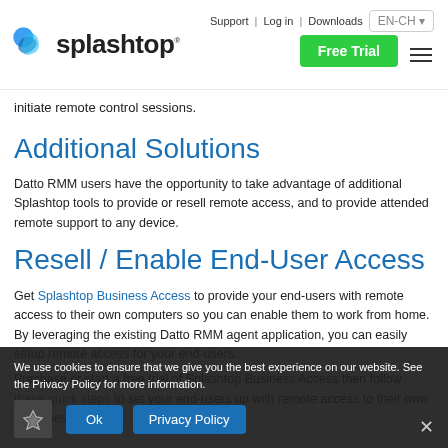Support | Log in | Downloads | EN-CH | Splashtop logo | Free Trial
initiate remote control sessions.
Additional Solutions
Datto RMM users have the opportunity to take advantage of additional Splashtop tools to provide or resell remote access, and to provide attended remote support to any device.
Resell / Enable End-User Access
Get Splashtop Business Access to provide your end-users with remote access to their own computers so you can enable them to work from home. By leveraging the existing Datto RMM agent application, you can easily setup remote access for your end-users. Purchase or start a free trial of Splashtop Business Access then follow these quick steps to set your end-users up with remote access to their own machines.
We use cookies to ensure that we give you the best experience on our website. See the Privacy Policy for more information.